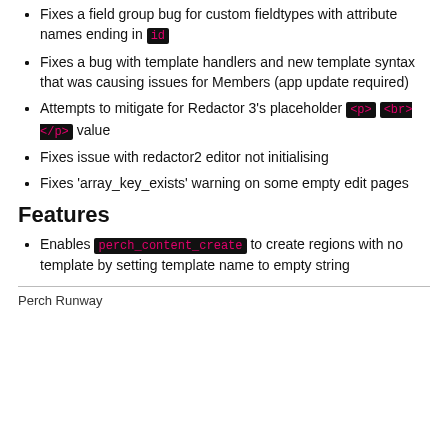Fixes a field group bug for custom fieldtypes with attribute names ending in id
Fixes a bug with template handlers and new template syntax that was causing issues for Members (app update required)
Attempts to mitigate for Redactor 3's placeholder <p> <br></p> value
Fixes issue with redactor2 editor not initialising
Fixes 'array_key_exists' warning on some empty edit pages
Features
Enables perch_content_create to create regions with no template by setting template name to empty string
Perch Runway